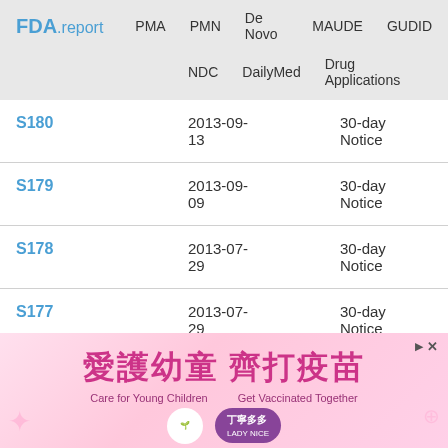FDA.report  PMA  PMN  De Novo  MAUDE  GUDID  NDC  DailyMed  Drug Applications
| ID | Date | Type |
| --- | --- | --- |
| S180 | 2013-09-13 | 30-day Notice |
| S179 | 2013-09-09 | 30-day Notice |
| S178 | 2013-07-29 | 30-day Notice |
| S177 | 2013-07-29 | 30-day Notice |
|  | 2013-07- | 30-day Notice |
[Figure (illustration): Advertisement banner in pink with Chinese text '愛護幼童 齊打疫苗' (Care for Young Children, Get Vaccinated Together) with decorative elements and a purple button.]